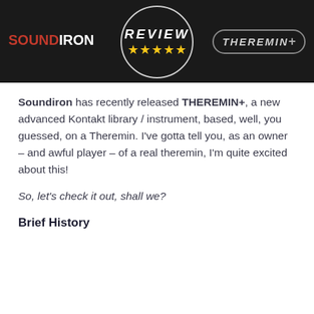[Figure (photo): Dark banner image showing a review badge with REVIEW text and five gold stars, SOUNDIRON logo in red and white on the left, and THEREMIN+ logo in metallic style on the right, all on a black/dark background.]
Soundiron has recently released THEREMIN+, a new advanced Kontakt library / instrument, based, well, you guessed, on a Theremin. I've gotta tell you, as an owner – and awful player – of a real theremin, I'm quite excited about this!
So, let's check it out, shall we?
Brief History